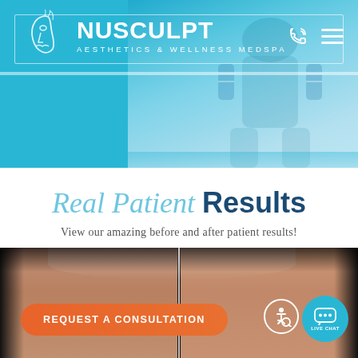[Figure (screenshot): NuSculpt Aesthetics & Wellness MedSpa website header with logo, navigation icons, and background hero image of a person in blue tones]
Real Patient Results
View our amazing before and after patient results!
[Figure (photo): Before and after patient results photo showing abdomen/torso split down the middle with a vertical white dividing line, dark background, with a REQUEST A CONSULTATION orange button, accessibility icon, and live chat icon overlaid]